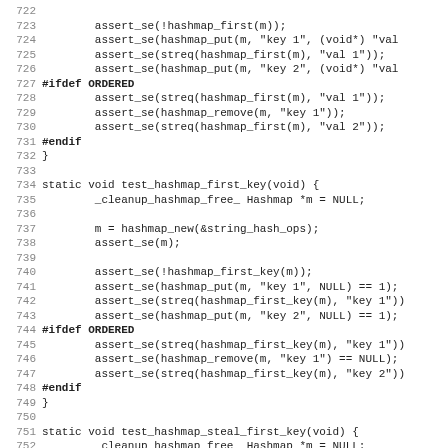Source code listing lines 722-754, C code for hashmap unit tests
722 (blank)
723         assert_se(!hashmap_first(m));
724         assert_se(hashmap_put(m, "key 1", (void*) "val
725         assert_se(streq(hashmap_first(m), "val 1"));
726         assert_se(hashmap_put(m, "key 2", (void*) "val
727 #ifdef ORDERED
728         assert_se(streq(hashmap_first(m), "val 1"));
729         assert_se(hashmap_remove(m, "key 1"));
730         assert_se(streq(hashmap_first(m), "val 2"));
731 #endif
732 }
733 (blank)
734 static void test_hashmap_first_key(void) {
735         _cleanup_hashmap_free_ Hashmap *m = NULL;
736 (blank)
737         m = hashmap_new(&string_hash_ops);
738         assert_se(m);
739 (blank)
740         assert_se(!hashmap_first_key(m));
741         assert_se(hashmap_put(m, "key 1", NULL) == 1);
742         assert_se(streq(hashmap_first_key(m), "key 1"))
743         assert_se(hashmap_put(m, "key 2", NULL) == 1);
744 #ifdef ORDERED
745         assert_se(streq(hashmap_first_key(m), "key 1"))
746         assert_se(hashmap_remove(m, "key 1") == NULL);
747         assert_se(streq(hashmap_first_key(m), "key 2"))
748 #endif
749 }
750 (blank)
751 static void test_hashmap_steal_first_key(void) {
752         _cleanup_hashmap_free_ Hashmap *m = NULL;
753 (blank)
754         m = hashmap_new(&string_hash_ops);